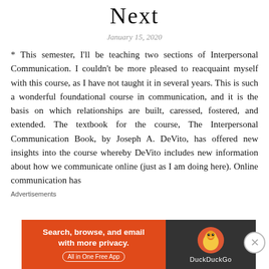Next
January 15, 2020
* This semester, I'll be teaching two sections of Interpersonal Communication. I couldn't be more pleased to reacquaint myself with this course, as I have not taught it in several years. This is such a wonderful foundational course in communication, and it is the basis on which relationships are built, caressed, fostered, and extended. The textbook for the course, The Interpersonal Communication Book, by Joseph A. DeVito, has offered new insights into the course whereby DeVito includes new information about how we communicate online (just as I am doing here). Online communication has
Advertisements
[Figure (other): DuckDuckGo advertisement banner with orange left panel reading 'Search, browse, and email with more privacy. All in One Free App' and dark right panel with DuckDuckGo logo and name.]